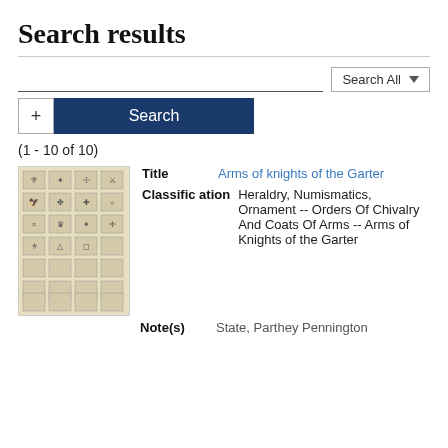Search results
(1 - 10 of 10)
[Figure (illustration): Thumbnail image of a historical heraldry page showing a grid of knights' coats of arms and heraldic shields in black and white engraving style on aged yellowed paper]
| Field | Value |
| --- | --- |
| Title | Arms of knights of the Garter |
| Classification | Heraldry, Numismatics, Ornament -- Orders Of Chivalry And Coats Of Arms -- Arms of Knights of the Garter |
| Note(s) | State, Parthey Pennington |